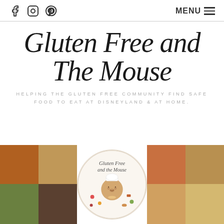Social icons (Facebook, Instagram, Pinterest) and MENU navigation
Gluten Free and The Mouse
HELPING THE GLUTEN FREE COMMUNITY FIND SAFE FOOD TO EAT AT DISNEYLAND & AT HOME.
[Figure (photo): Collage of food photos arranged in a grid with Gluten Free and The Mouse logo circle in the center]